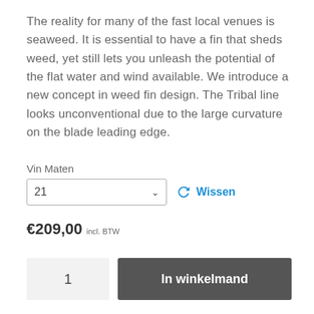The reality for many of the fast local venues is seaweed. It is essential to have a fin that sheds weed, yet still lets you unleash the potential of the flat water and wind available. We introduce a new concept in weed fin design. The Tribal line looks unconventional due to the large curvature on the blade leading edge.
Vin Maten
21
Wissen
€209,00 incl. BTW
1
In winkelmand